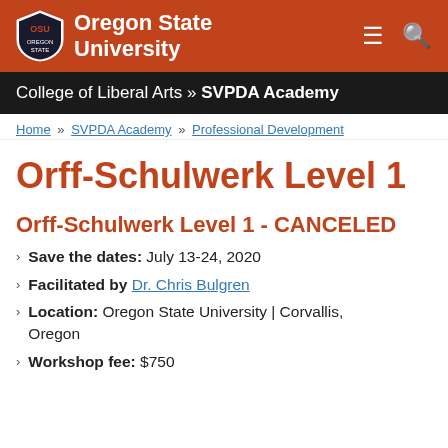Oregon State University
College of Liberal Arts » SVPDA Academy
Home » SVPDA Academy » Professional Development
Orff-Schulwerk Level 1
Orff-Schulwerk Level 1 - CANCELED
Save the dates: July 13-24, 2020
Facilitated by Dr. Chris Bulgren
Location: Oregon State University | Corvallis, Oregon
Workshop fee: $750